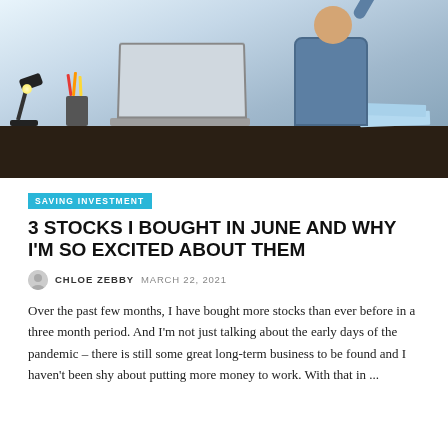[Figure (photo): Man celebrating at desk with laptop, raising arm in excitement]
SAVING INVESTMENT
3 STOCKS I BOUGHT IN JUNE AND WHY I'M SO EXCITED ABOUT THEM
CHLOE ZEBBY  MARCH 22, 2021
Over the past few months, I have bought more stocks than ever before in a three month period. And I'm not just talking about the early days of the pandemic – there is still some great long-term business to be found and I haven't been shy about putting more money to work. With that in ...